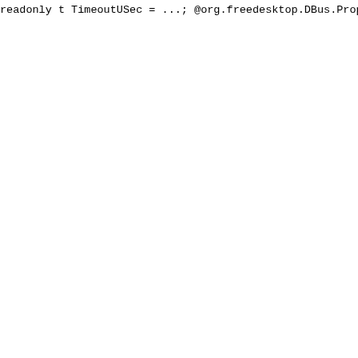readonly t TimeoutUSec = ...;
@org.freedesktop.DBus.Propert
readonly s BindToDevice = '..
@org.freedesktop.DBus.Propert
readonly s SocketUser = '...'
@org.freedesktop.DBus.Propert
readonly s SocketGroup = '...
@org.freedesktop.DBus.Propert
readonly u SocketMode = ...;
@org.freedesktop.DBus.Propert
readonly u DirectoryMode = ..
@org.freedesktop.DBus.Propert
readonly b Accept = ...;
@org.freedesktop.DBus.Propert
readonly b FlushPending = ...
@org.freedesktop.DBus.Propert
readonly b Writable = ...;
@org.freedesktop.DBus.Propert
readonly b KeepAlive = ...;
@org.freedesktop.DBus.Propert
readonly t KeepAliveTimeUSec
@org.freedesktop.DBus.Propert
readonly t KeepAliveIntervalU
@org.freedesktop.DBus.Propert
readonly u KeepAliveProbes =
@org.freedesktop.DBus.Propert